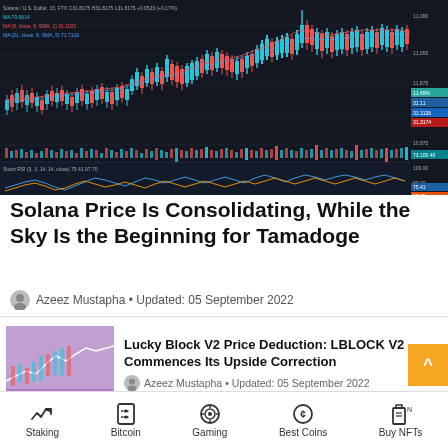[Figure (continuous-plot): Solana/USDT candlestick price chart with volume bars and moving average lines shown on TradingView style interface. Shows price action with green and red candles, a red moving average line, and volume bars at bottom. A Stoch RSI indicator panel is shown below the main price chart. Price range approximately 10,700-11,000. Multiple indicator labels visible in top-left.]
Solana Price Is Consolidating, While the Sky Is the Beginning for Tamadoge
Azeez Mustapha • Updated: 05 September 2022
[Figure (screenshot): Thumbnail chart image for Lucky Block V2 article showing purple/pink colored candlestick chart]
Lucky Block V2 Price Deduction: LBLOCK V2 Commences Its Upside Correction
Azeez Mustapha • Updated: 05 September 2022
[Figure (screenshot): Thumbnail chart image for Ethereum Open Interest article showing line chart with peaks]
Open Interest in Ethereum Goes All-Time High as The Merge Gets Near
Staking | Bitcoin | Gaming | Best Coins | Buy NFTs